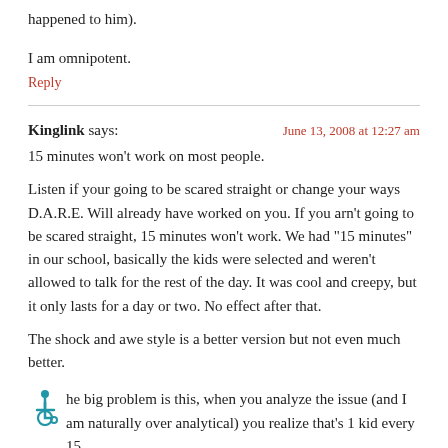happened to him).
I am omnipotent.
Reply
Kinglink says:
June 13, 2008 at 12:27 am
15 minutes won’t work on most people.
Listen if your going to be scared straight or change your ways D.A.R.E. Will already have worked on you. If you arn’t going to be scared straight, 15 minutes won’t work. We had “15 minutes” in our school, basically the kids were selected and weren’t allowed to talk for the rest of the day. It was cool and creepy, but it only lasts for a day or two. No effect after that.
The shock and awe style is a better version but not even much better.
The big problem is this, when you analyze the issue (and I am naturally over analytical) you realize that’s 1 kid every 15